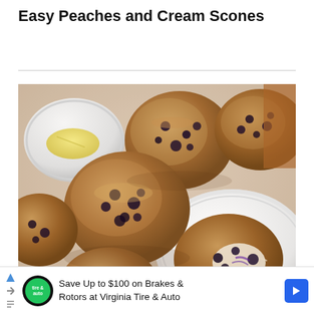Easy Peaches and Cream Scones
[Figure (photo): Overhead view of blueberry muffins/scones with crumble topping on a marble surface, with a white plate and a small bowl of butter]
Save Up to $100 on Brakes & Rotors at Virginia Tire & Auto